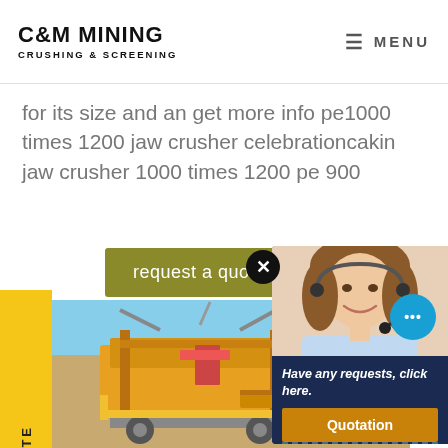C&M MINING CRUSHING & SCREENING | MENU
for its size and an get more info pe1000 times 1200 jaw crusher celebrationcakin jaw crusher 1000 times 1200 pe 900
request a quote
REQUEST A QUOTE
[Figure (photo): Yellow and black mining crushing and screening machinery on a construction site with blue sky in background]
[Figure (photo): Customer service agent woman with headset smiling, chat popup overlay with dark navy background]
Have any requests, click here.
Quotation